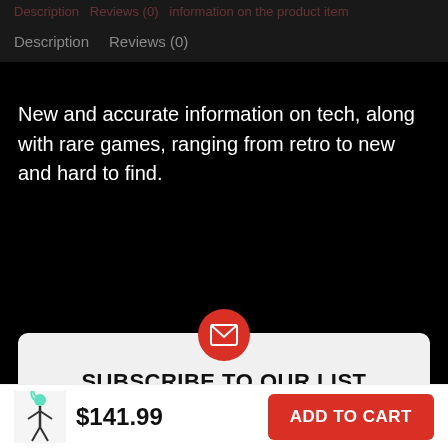Description   Reviews (0)
New and accurate information on tech, along with rare games, ranging from retro to new and hard to find.
SUBSCRIBE TO OUR LIST
Email address
$141.99
ADD TO CART